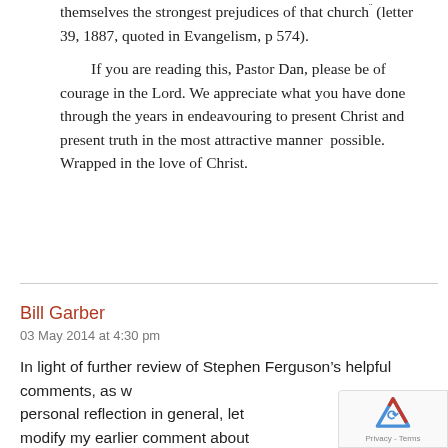themselves the strongest prejudices of that church¬ (letter 39, 1887, quoted in Evangelism, p 574).

If you are reading this, Pastor Dan, please be of courage in the Lord. We appreciate what you have done through the years in endeavouring to present Christ and present truth in the most attractive manner  possible. Wrapped in the love of Christ.
Bill Garber
03 May 2014 at 4:30 pm
In light of further review of Stephen Ferguson’s helpful comments, as w personal reflection in general, let modify my earlier comment about video and conversation here about it. I